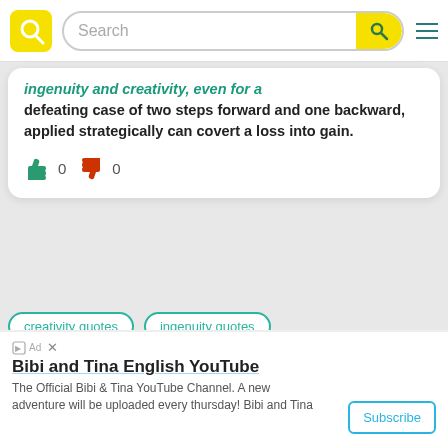[Figure (screenshot): Website navigation bar with yellow logo Q, search bar, and hamburger menu icon]
ingenuity and creativity, even for a defeating case of two steps forward and one backward, applied strategically can covert a loss into gain.
👍 0  👎 0
creativity quotes
ingenuity quotes
By Anonym  Sep 17
Vesse
[Figure (screenshot): Advertisement banner: Bibi and Tina English YouTube - The Official Bibi & Tina YouTube Channel. A new adventure will be uploaded every thursday! Bibi and Tina. Subscribe button.]